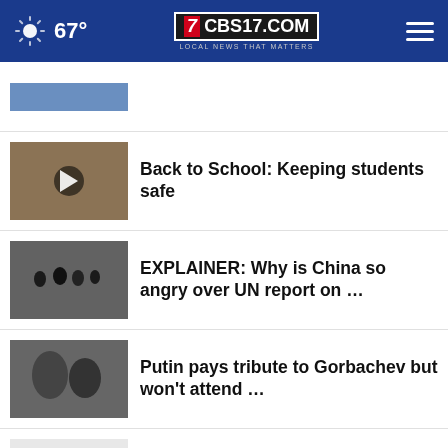67° CBS17.COM LOCAL NEWS THAT MATTERS
[Figure (photo): Partial news thumbnail at top (cut off)]
Back to School: Keeping students safe
EXPLAINER: Why is China so angry over UN report on …
Putin pays tribute to Gorbachev but won't attend …
Lavrov warns Moldova about threats to peacekeepers
Downed power lines close Raleigh street
Poland marks WWII anniversary with report on damage …